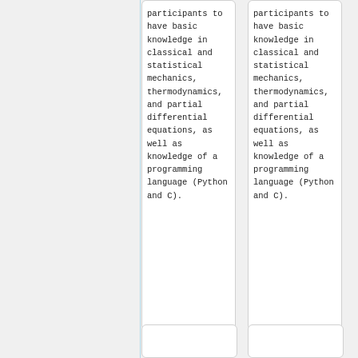participants to have basic knowledge in classical and statistical mechanics, thermodynamics, and partial differential equations, as well as knowledge of a programming language (Python and C).
participants to have basic knowledge in classical and statistical mechanics, thermodynamics, and partial differential equations, as well as knowledge of a programming language (Python and C).